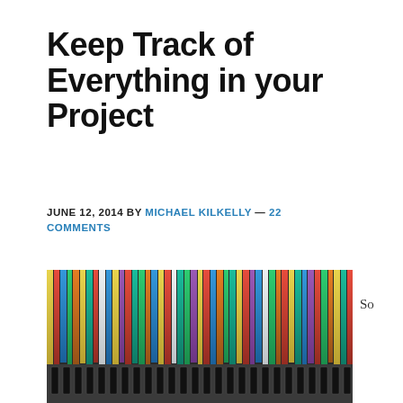Keep Track of Everything in your Project
JUNE 12, 2014 BY MICHAEL KILKELLY — 22 COMMENTS
[Figure (photo): Colorful hanging file folders in a filing cabinet, viewed from above at an angle, showing many multicolored folder tabs in yellow, green, red, blue, teal, and other colors with black metal clips.]
So